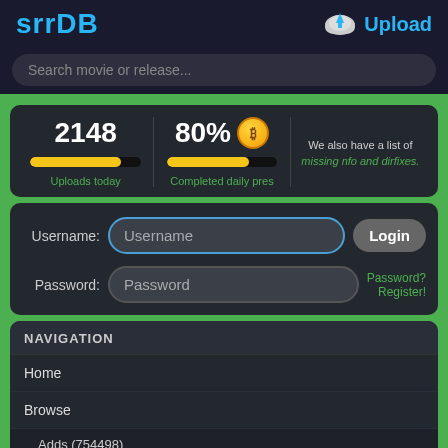srrDB
Upload
Search movie or release...
2148
Uploads today
80%
Completed daily pres
We also have a list of missing nfo and dirfixes.
Username: [input] Login
Password: [input]
Password? Register!
NAVIGATION
Home
Browse
Adds (754498)